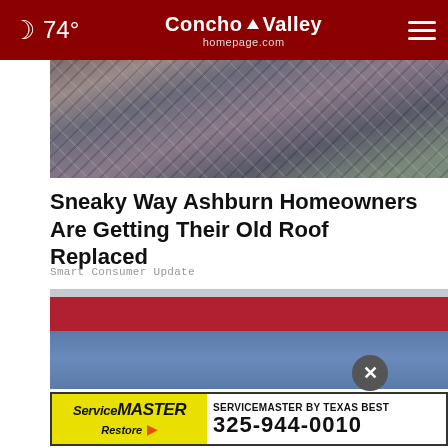74° Concho Valley homepage.com
[Figure (photo): Damaged roof with broken shingles and debris]
Sneaky Way Ashburn Homeowners Are Getting Their Old Roof Replaced
Smart Consumer Update
[Figure (photo): Person in red top and jeans with hands clasped behind back]
[Figure (other): ServiceMaster by Texas Best advertisement banner with phone number 325-944-0010]